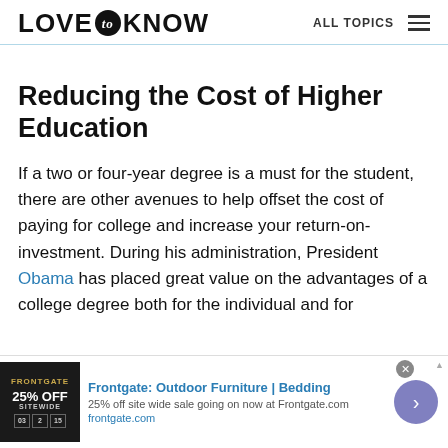LOVE to KNOW   ALL TOPICS
Reducing the Cost of Higher Education
If a two or four-year degree is a must for the student, there are other avenues to help offset the cost of paying for college and increase your return-on-investment. During his administration, President Obama has placed great value on the advantages of a college degree both for the individual and for
[Figure (other): Advertisement banner for Frontgate: Outdoor Furniture | Bedding. 25% off site wide sale going on now at Frontgate.com. frontgate.com. Shows a dark promotional image with 25% OFF SITEWIDE text and a navigation arrow button.]